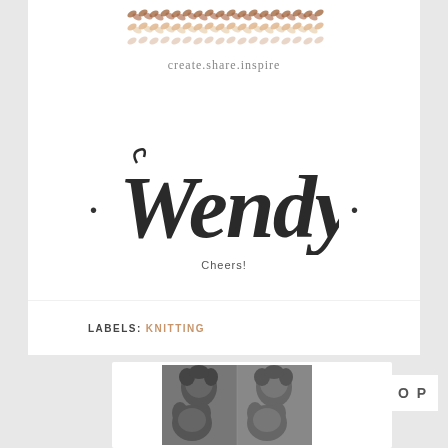[Figure (logo): Herringbone/knitting pattern decorative banner in warm earth tones (tan, rust, brown) followed by the tagline 'create.share.inspire' in grey serif font]
[Figure (illustration): Handwritten-style script name 'Wendy' in large bold italic font, flanked by bullet dots on each side, with 'Cheers!' beneath in small caps]
LABELS: KNITTING
[Figure (photo): Black and white photo showing a woman with curly hair and glasses posing with a French bulldog, shown twice side by side]